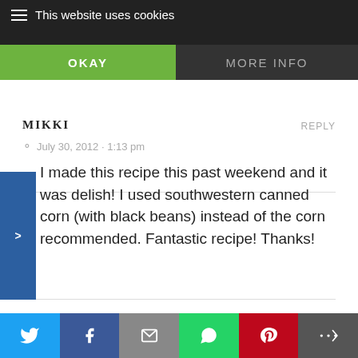This website uses cookies | MOM KITCHEN | OKAY | MORE INFO
MIKKI
REPLY
July 30, 2012 - 1:13 pm
I made this recipe this past weekend and it was delish! I used southwestern canned corn (with black beans) instead of the corn recommended. Fantastic recipe! Thanks!
SARAH
REPLY
Twitter | Facebook | Email | WhatsApp | Pinterest | More